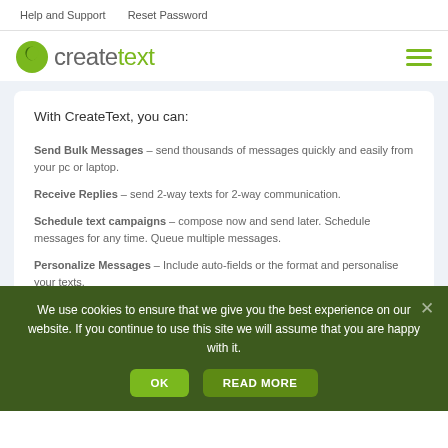Help and Support   Reset Password
[Figure (logo): CreateText logo with green leaf icon and 'createtext' wordmark in gray and green]
With CreateText, you can:
Send Bulk Messages – send thousands of messages quickly and easily from your pc or laptop.
Receive Replies – send 2-way texts for 2-way communication.
Schedule text campaigns – compose now and send later. Schedule messages for any time. Queue multiple messages.
Personalize Messages – Include auto-fields of the format and personalise your texts.
We use cookies to ensure that we give you the best experience on our website. If you continue to use this site we will assume that you are happy with it.